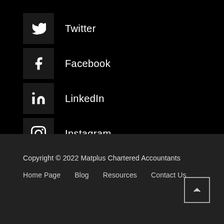Twitter
Facebook
LinkedIn
Instagram
Copyright © 2022 Matplus Chartered Accountants
Home Page    Blog    Resources    Contact Us